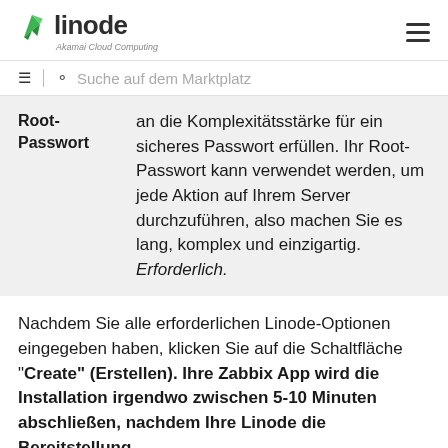linode — Akamai Cloud Computing
Suche auf dem Marktplatz
| Field | Description |
| --- | --- |
| Root-Passwort | an die Komplexitätsstärke für ein sicheres Passwort erfüllen. Ihr Root-Passwort kann verwendet werden, um jede Aktion auf Ihrem Server durchzuführen, also machen Sie es lang, komplex und einzigartig. Erforderlich. |
Nachdem Sie alle erforderlichen Linode-Optionen eingegeben haben, klicken Sie auf die Schaltfläche "Create" (Erstellen). Ihre Zabbix App wird die Installation irgendwo zwischen 5-10 Minuten abschließen, nachdem Ihre Linode die Bereitstellung abgeschlossen hat.